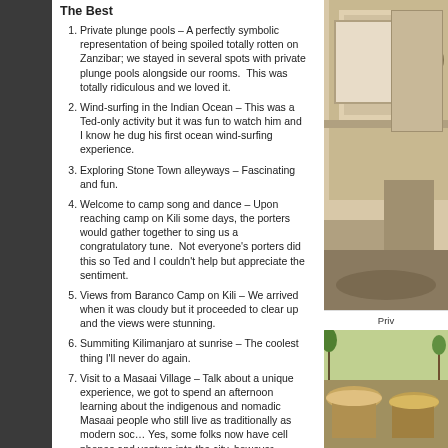The Best
Private plunge pools – A perfectly symbolic representation of being spoiled totally rotten on Zanzibar; we stayed in several spots with private plunge pools alongside our rooms.  This was totally ridiculous and we loved it.
Wind-surfing in the Indian Ocean – This was a Ted-only activity but it was fun to watch him and I know he dug his first ocean wind-surfing experience.
Exploring Stone Town alleyways – Fascinating and fun.
Welcome to camp song and dance – Upon reaching camp on Kili some days, the porters would gather together to sing us a congratulatory tune.  Not everyone's porters did this so Ted and I couldn't help but appreciate the sentiment.
Views from Baranco Camp on Kili – We arrived when it was cloudy but it proceeded to clear up and the views were stunning.
Summiting Kilimanjaro at sunrise – The coolest thing I'll never do again.
Visit to a Masaai Village – Talk about a unique experience, we got to spend an afternoon learning about the indigenous and nomadic Masaai people who still live as traditionally as modern soc… Yes, some folks now have cell phones and venture into the city, however, polygamy is still practiced, cow blood is a staple in the diet and cow herding is the primary occupation.
[Figure (photo): Interior room photo showing plunge pool area]
Priv
[Figure (photo): Masaai village photo showing thatched huts]